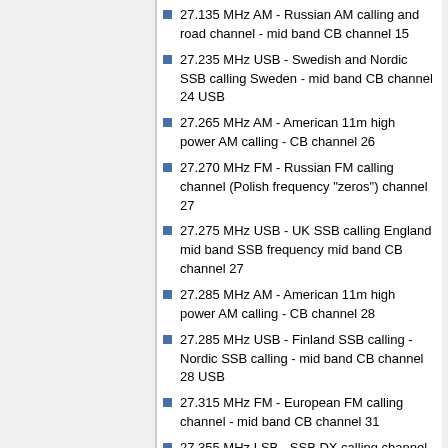27.135 MHz AM - Russian AM calling and road channel - mid band CB channel 15
27.235 MHz USB - Swedish and Nordic SSB calling Sweden - mid band CB channel 24 USB
27.265 MHz AM - American 11m high power AM calling - CB channel 26
27.270 MHz FM - Russian FM calling channel (Polish frequency "zeros") channel 27
27.275 MHz USB - UK SSB calling England mid band SSB frequency mid band CB channel 27
27.285 MHz AM - American 11m high power AM calling - CB channel 28
27.285 MHz USB - Finland SSB calling - Nordic SSB calling - mid band CB channel 28 USB
27.315 MHz FM - European FM calling channel - mid band CB channel 31
27.355 MHz LSB - SSB DX calling channel Australia and Oceania - CB channel 35 LSB (see also: 27.385 LSB)